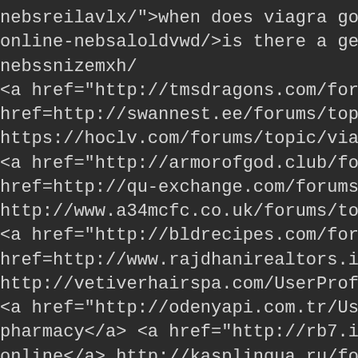nebsreilavlx/">when does viagra go g
online-nebsaloldvwd/>is there a gene
nebssnizemxh/
<a href="http://tmsdragons.com/forum
href=http://swannest.ee/forums/topic/
https://hoclv.com/forums/topic/viagra-
<a href="http://armorofgod.club/forum
href=http://qu-exchange.com/forums/
http://www.a34mcfc.co.uk/forums/topi
<a href="http://bldrecipes.com/forums
href=http://www.rajdhanirealtors.in/Us
http://vetiverhairspa.com/UserProfile/
<a href="http://odenyapi.com.tr/UserP
pharmacy</a> <a href="http://rb7.in/fo
online</a> http://kasplingua.ru/forums
<a href="http://onlinesikkha.com/foru
<a href=http://karabin.su/gruppy/chea
http://www.cazadoresnorestemx.com
<a href="http://atlantabravesnews.cor
<a href="http://valley-life.org/topic/sam
http://blaisekavanagh.com/UserProfile
<a href="http://dementednetworks.co
<a href=https://www.elefante.org.uk/fo